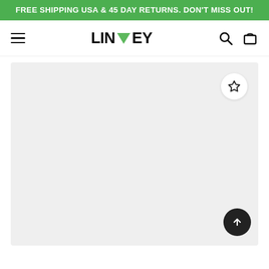FREE SHIPPING USA & 45 DAY RETURNS. DON'T MISS OUT!
[Figure (logo): LINWEY brand logo with green leaf/chevron icon replacing the letter W, flanked by hamburger menu icon on left and search and cart icons on right]
[Figure (photo): Large light grey product image placeholder area with a white circular wishlist (star) button in the top-right corner and a dark circular scroll-to-top arrow button in the bottom-right corner]